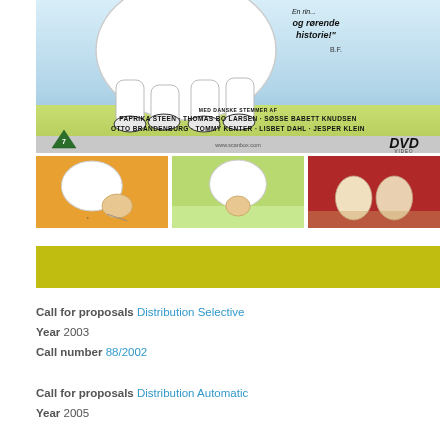[Figure (photo): DVD cover image showing animated polar bear with a child, with Danish text quote 'og rørende historie!' and credits listing PAPRIKA STEEN, THOMAS BO LARSEN, SØSSE BABETT KNUDSEN, OTTO BRANDENBURG, TOMMY KENTER, LISBET DAHL, JESPER KLEIN. DVD Video logo and age rating triangle visible.]
[Figure (photo): Three thumbnail stills from the animated film showing polar bear with child in different scenes.]
[Figure (illustration): Yellow-green color band/strip.]
Call for proposals Distribution Selective
Year 2003
Call number 88/2002
Call for proposals Distribution Automatic
Year 2005